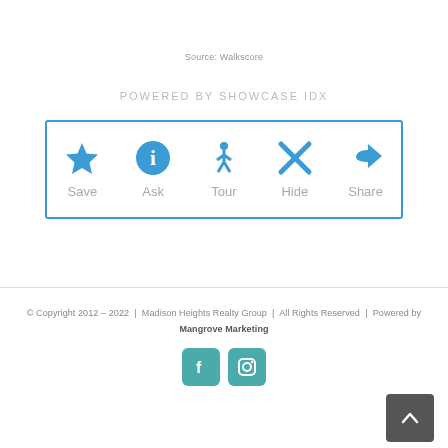Source: Walkscore
POWERED BY SHOWCASE IDX
[Figure (infographic): Action button bar with five options: Save (star icon), Ask (info circle icon), Tour (walking person icon), Hide (X icon), Share (share arrow icon), all in blue inside a blue-bordered rectangle.]
© Copyright 2012 – 2022 | Madison Heights Realty Group | All Rights Reserved | Powered by Mangrove Marketing